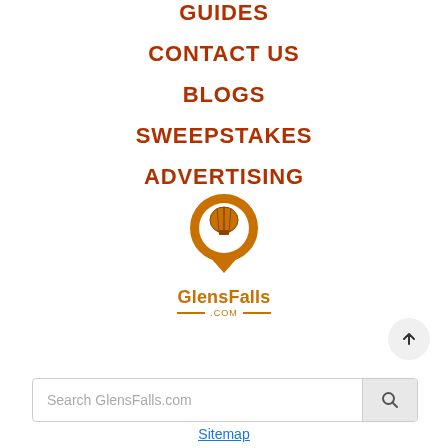GUIDES
CONTACT US
BLOGS
SWEEPSTAKES
ADVERTISING
[Figure (logo): GlensFalls.com logo with hot air balloon map pin icon in orange, with 'GlensFalls' text and '.COM' below with decorative lines]
Search GlensFalls.com
Sitemap